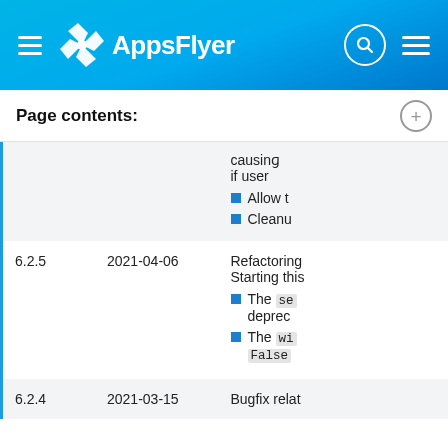AppsFlyer — navigation header
Page contents:
| Version | Date | Description |
| --- | --- | --- |
|  |  | causing
if user
Allow t
Cleanu |
| 6.2.5 | 2021-04-06 | Refactoring
Starting this
The se
deprec
The wi
False |
| 6.2.4 | 2021-03-15 | Bugfix relat |